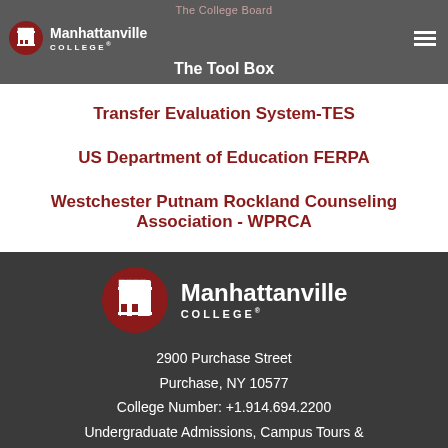The College Board | The Tool Box — Manhattanville College
Transfer Evaluation System-TES
US Department of Education FERPA
Westchester Putnam Rockland Counseling Association - WPRCA
Manhattanville College
2900 Purchase Street
Purchase, NY 10577
College Number: +1.914.694.2200
Undergraduate Admissions, Campus Tours &